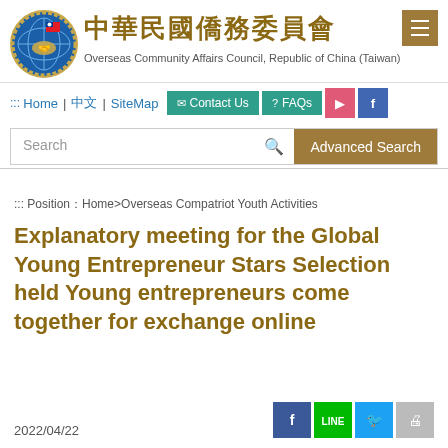[Figure (logo): Circular logo of Overseas Community Affairs Council, Republic of China (Taiwan), featuring a globe, handshake, and Taiwan flag]
中華民國僑務委員會
Overseas Community Affairs Council, Republic of China (Taiwan)
::: Home | 中文 | SiteMap | Contact Us | FAQs
Search  Advanced Search
::: Position：Home>Overseas Compatriot Youth Activities
Explanatory meeting for the Global Young Entrepreneur Stars Selection held Young entrepreneurs come together for exchange online
2022/04/22